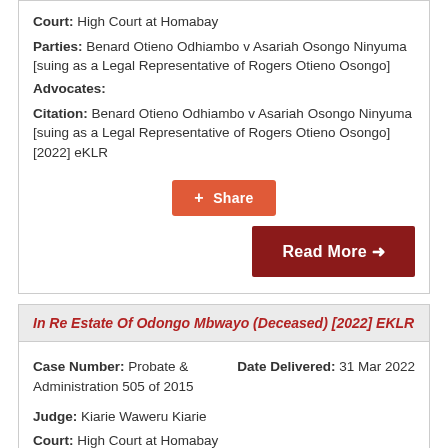Court: High Court at Homabay
Parties: Benard Otieno Odhiambo v Asariah Osongo Ninyuma [suing as a Legal Representative of Rogers Otieno Osongo]
Advocates:
Citation: Benard Otieno Odhiambo v Asariah Osongo Ninyuma [suing as a Legal Representative of Rogers Otieno Osongo] [2022] eKLR
[Figure (other): Share button (orange) and Read More button (dark red)]
In Re Estate Of Odongo Mbwayo (Deceased) [2022] EKLR
Case Number: Probate & Administration 505 of 2015
Date Delivered: 31 Mar 2022
Judge: Kiarie Waweru Kiarie
Court: High Court at Homabay
Parties: In re Estate of Odongo Mbwayo (Deceased)